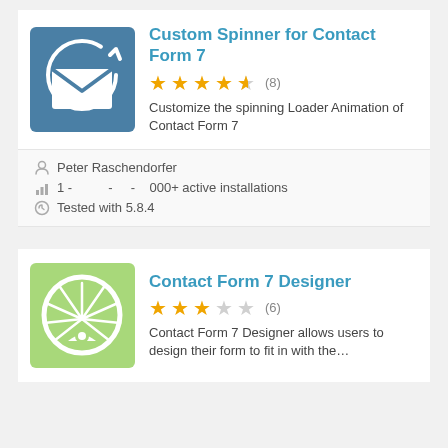[Figure (illustration): Plugin icon: teal/blue background with white envelope and circular spinner arrow]
Custom Spinner for Contact Form 7
★★★★½ (8)
Customize the spinning Loader Animation of Contact Form 7
Peter Raschendorfer
1 - - - 000+ active installations
Tested with 5.8.4
[Figure (illustration): Plugin icon: light green background with white wheel/sun radial design]
Contact Form 7 Designer
★★★☆☆ (6)
Contact Form 7 Designer allows users to design their form to fit in with the…